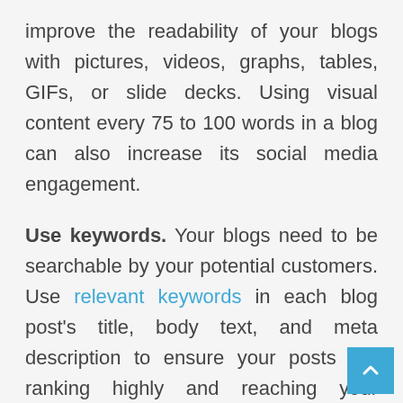improve the readability of your blogs with pictures, videos, graphs, tables, GIFs, or slide decks. Using visual content every 75 to 100 words in a blog can also increase its social media engagement.
Use keywords. Your blogs need to be searchable by your potential customers. Use relevant keywords in each blog post’s title, body text, and meta description to ensure your posts are ranking highly and reaching your audience’s eyes.
Proofread. This goes for all your content, not just your blogs. Spelling and grammatical errors can very quickly undermine the effectiveness of your message and your position as an expert in your field. Consider using proofreading and writing analysis software, or hiring a professional